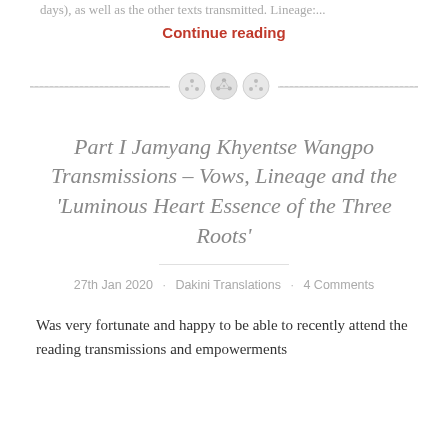days), as well as the other texts transmitted. Lineage:...
Continue reading
[Figure (illustration): Decorative section divider with three button-like circular icons and a dashed horizontal line]
Part I Jamyang Khyentse Wangpo Transmissions – Vows, Lineage and the ‘Luminous Heart Essence of the Three Roots’
27th Jan 2020 · Dakini Translations · 4 Comments
Was very fortunate and happy to be able to recently attend the reading transmissions and empowerments